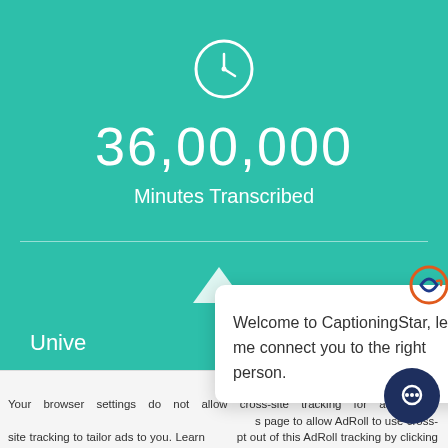[Figure (infographic): Teal background section with clock icon, large number 36,00,000 and text 'Minutes Transcribed']
36,00,000
Minutes Transcribed
Unive...
[Figure (screenshot): Chat popup overlay: logo icon, close X, text 'Welcome to CaptioningStar, let me connect you to the right person.']
Welcome to CaptioningStar, let me connect you to the right person.
Accept a... x
Your browser settings do not allow cross-site tracking for advertising. ... page to allow AdRoll to use cross-site tracking to tailor ads to you. Learn ... pt out of this AdRoll tracking by clicking here. This message only appears once.